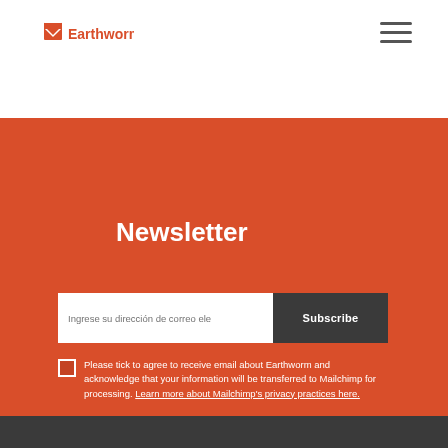Earthworm
Newsletter
Subscribe to our newsletter and stay updated
Ingrese su dirección de correo ele   Subscribe
Please tick to agree to receive email about Earthworm and acknowledge that your information will be transferred to Mailchimp for processing. Learn more about Mailchimp's privacy practices here.